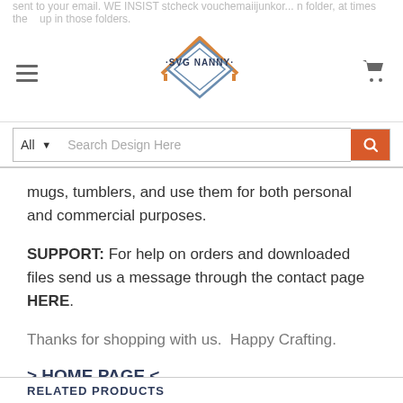sent to your email. WE INSIST stcheck vouchemaiijunkor... n folder, at times the... up in those folders.
[Figure (logo): SVG Nanny logo — house outline with orange roof, blue diamond shape below, text SVG NANNY in center]
mugs, tumblers, and use them for both personal and commercial purposes.
SUPPORT: For help on orders and downloaded files send us a message through the contact page HERE.
Thanks for shopping with us.  Happy Crafting.
> HOME PAGE <
RELATED PRODUCTS